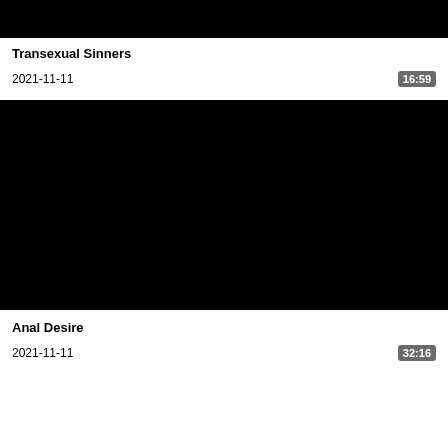[Figure (photo): Black video thumbnail at top of page]
Transexual Sinners
2021-11-11
16:59
[Figure (photo): Black video thumbnail in center of page]
Anal Desire
2021-11-11
32:16